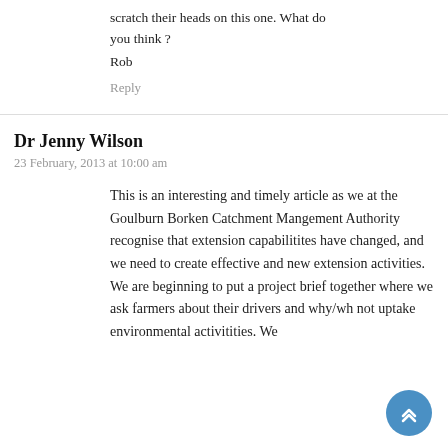scratch their heads on this one. What do you think ?
Rob
Reply
Dr Jenny Wilson
23 February, 2013 at 10:00 am
This is an interesting and timely article as we at the Goulburn Borken Catchment Mangement Authority recognise that extension capabilitites have changed, and we need to create effective and new extension activities. We are beginning to put a project brief together where we ask farmers about their drivers and why/wh not uptake environmental activitities. We